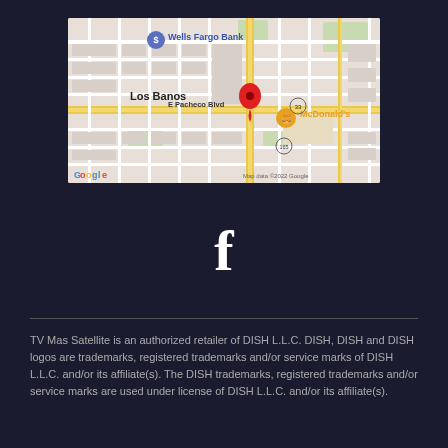[Figure (map): Google Maps screenshot showing Los Banos area with a red location pin on E Pacheco Blvd, nearby landmarks including Wells Fargo Bank and McDonald's, with route markers 33 and 165. Map data ©2022 Google.]
[Figure (logo): Facebook logo icon (white lowercase 'f' on dark background)]
TV Mas Satellite is an authorized retailer of DISH L.L.C. DISH, DISH and DISH logos are trademarks, registered trademarks and/or service marks of DISH L.L.C. and/or its affiliate(s). The DISH trademarks, registered trademarks and/or service marks are used under license of DISH L.L.C. and/or its affiliate(s).